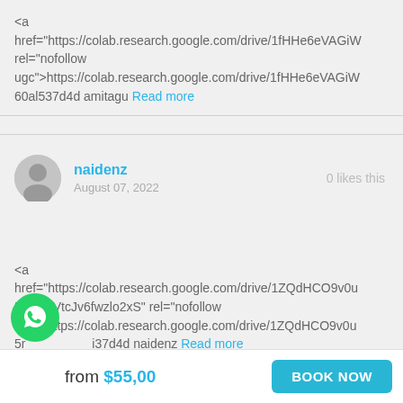<a href="https://colab.research.google.com/drive/1fHHe6eVAGiW rel="nofollow ugc">https://colab.research.google.com/drive/1fHHe6eVAGiW 60al537d4d amitagu Read more
naidenz
August 07, 2022
0 likes this
<a href="https://colab.research.google.com/drive/1ZQdHCO9v0u 5rgrljmVtcJv6fwzlo2xS" rel="nofollow ugc">https://colab.research.google.com/drive/1ZQdHCO9v0u 5r... i37d4d naidenz Read more
from $55,00
BOOK NOW